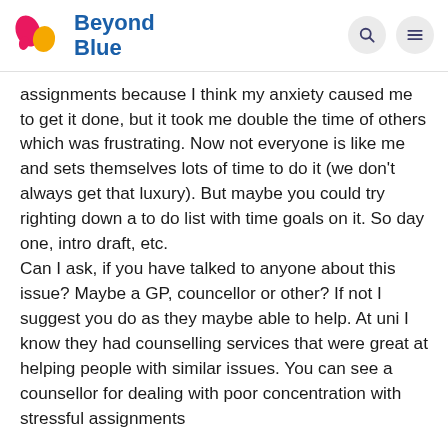Beyond Blue
assignments because I think my anxiety caused me to get it done, but it took me double the time of others which was frustrating. Now not everyone is like me and sets themselves lots of time to do it (we don't always get that luxury). But maybe you could try righting down a to do list with time goals on it. So day one, intro draft, etc.
Can I ask, if you have talked to anyone about this issue? Maybe a GP, councellor or other? If not I suggest you do as they maybe able to help. At uni I know they had counselling services that were great at helping people with similar issues. You can see a counsellor for dealing with poor concentration with stressful assignments